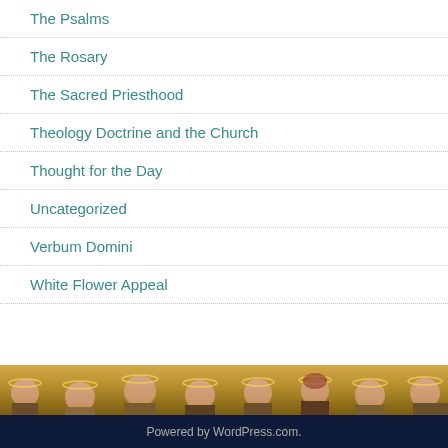The Psalms
The Rosary
The Sacred Priesthood
Theology Doctrine and the Church
Thought for the Day
Uncategorized
Verbum Domini
White Flower Appeal
[Figure (photo): A horizontal band showing a detail of a religious painting with multiple haloed figures (saints or apostles) with gold background, cropped at the bottom of the page.]
Powered by WordPress.com.